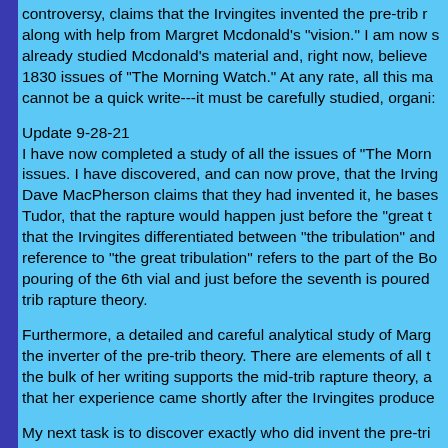controversy, claims that the Irvingites invented the pre-trib rapture along with help from Margret Mcdonald's "vision." I am now studying already studied Mcdonald's material and, right now, believe 1830 issues of "The Morning Watch." At any rate, all this ma cannot be a quick write---it must be carefully studied, organized
Update 9-28-21
I have now completed a study of all the issues of "The Morn issues. I have discovered, and can now prove, that the Irving Dave MacPherson claims that they had invented it, he bases Tudor, that the rapture would happen just before the "great t that the Irvingites differentiated between "the tribulation" and reference to "the great tribulation" refers to the part of the Bo pouring of the 6th vial and just before the seventh is poured trib rapture theory.
Furthermore, a detailed and careful analytical study of Marg the inverter of the pre-trib theory. There are elements of all t the bulk of her writing supports the mid-trib rapture theory, a that her experience came shortly after the Irvingites produced
My next task is to discover exactly who did invent the pre-tri to mental exhaustion, so I have to rest from writing for a mor
Update 5-2-22